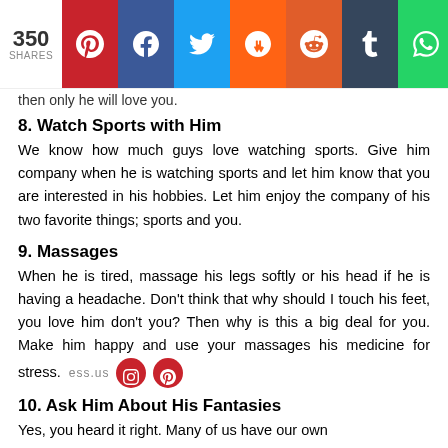350 SHARES — social share icons: Pinterest, Facebook, Twitter, Mix, Reddit, Tumblr, WhatsApp
then only he will love you.
8. Watch Sports with Him
We know how much guys love watching sports. Give him company when he is watching sports and let him know that you are interested in his hobbies. Let him enjoy the company of his two favorite things; sports and you.
9. Massages
When he is tired, massage his legs softly or his head if he is having a headache. Don’t think that why should I touch his feet, you love him don’t you? Then why is this a big deal for you. Make him happy and use your massages his medicine for stress.
10. Ask Him About His Fantasies
Yes, you heard it right. Many of us have our own